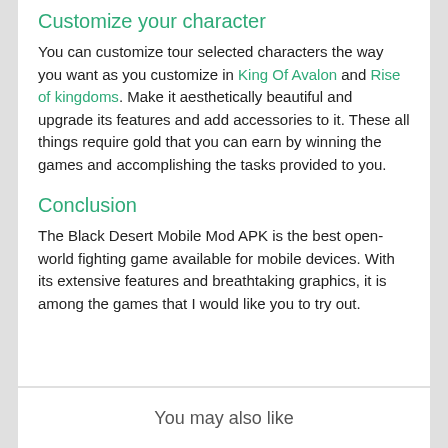Customize your character
You can customize tour selected characters the way you want as you customize in King Of Avalon and Rise of kingdoms. Make it aesthetically beautiful and upgrade its features and add accessories to it. These all things require gold that you can earn by winning the games and accomplishing the tasks provided to you.
Conclusion
The Black Desert Mobile Mod APK is the best open-world fighting game available for mobile devices. With its extensive features and breathtaking graphics, it is among the games that I would like you to try out.
You may also like